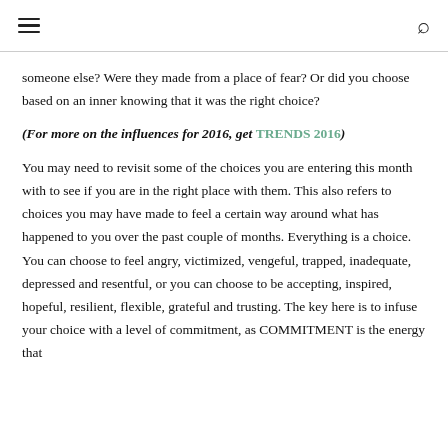≡  🔍
someone else? Were they made from a place of fear? Or did you choose based on an inner knowing that it was the right choice?
(For more on the influences for 2016, get TRENDS 2016)
You may need to revisit some of the choices you are entering this month with to see if you are in the right place with them. This also refers to choices you may have made to feel a certain way around what has happened to you over the past couple of months. Everything is a choice. You can choose to feel angry, victimized, vengeful, trapped, inadequate, depressed and resentful, or you can choose to be accepting, inspired, hopeful, resilient, flexible, grateful and trusting. The key here is to infuse your choice with a level of commitment, as COMMITMENT is the energy that